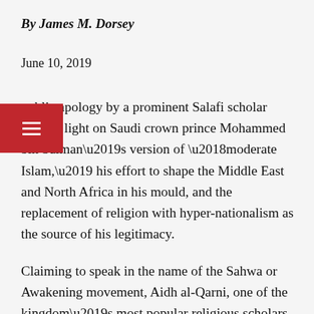By James M. Dorsey
June 10, 2019
A public apology by a prominent Salafi scholar sheds a light on Saudi crown prince Mohammed bin Salman’s version of ‘moderate Islam,’ his effort to shape the Middle East and North Africa in his mould, and the replacement of religion with hyper-nationalism as the source of his legitimacy.
Claiming to speak in the name of the Sahwa or Awakening movement, Aidh al-Qarni, one of the kingdom’s most popular religious scholars, broke with the Muslim Brotherhood-linked group’s past call for political reform and instead wholeheartedly endorsed Prince Mohammed’s